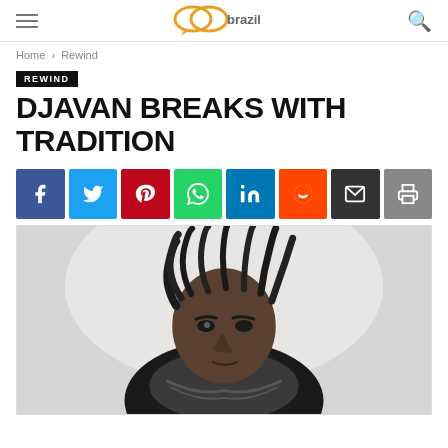connect brazil (logo)
Home › Rewind
REWIND
DJAVAN BREAKS WITH TRADITION
[Figure (other): Social sharing buttons: Facebook, Twitter, Pinterest, WhatsApp, LinkedIn, Reddit, Email, Print]
[Figure (photo): Black and white portrait photo of Djavan, a Brazilian musician with dreadlocks and a scarf, looking at the camera]